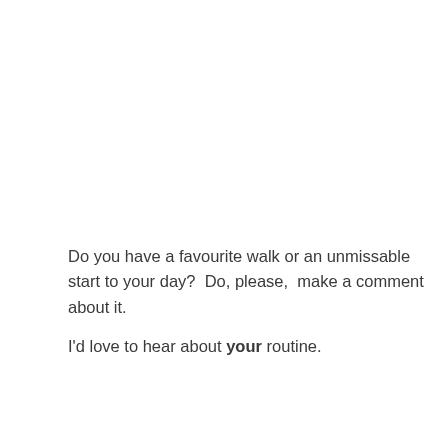Do you have a favourite walk or an unmissable start to your day?  Do, please,  make a comment about it.

I'd love to hear about your routine.